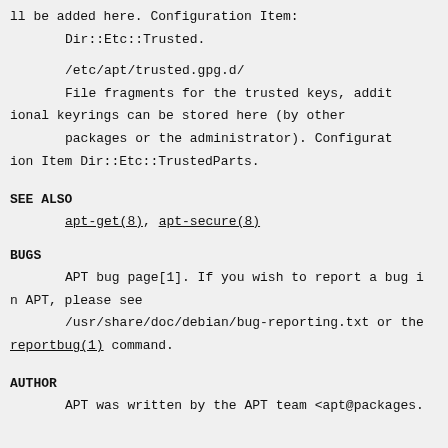ll be added here. Configuration Item:
        Dir::Etc::Trusted.
/etc/apt/trusted.gpg.d/
        File fragments for the trusted keys, additional keyrings can be stored here (by other
        packages or the administrator). Configuration Item Dir::Etc::TrustedParts.
SEE ALSO
apt-get(8), apt-secure(8)
BUGS
APT bug page[1]. If you wish to report a bug in APT, please see
        /usr/share/doc/debian/bug-reporting.txt or the reportbug(1) command.
AUTHOR
APT was written by the APT team <apt@packages.